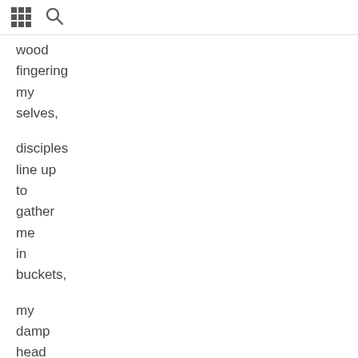[grid icon] [search icon]
wood
fingering
my
selves,

disciples
line up
to
gather
me
in
buckets,

my
damp
head
cradled
between
books